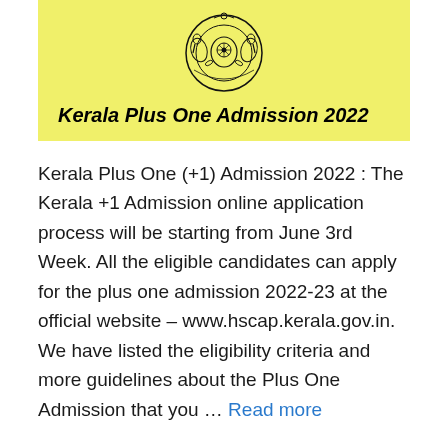[Figure (illustration): Kerala government emblem (coat of arms) on yellow background with text 'Kerala Plus One Admission 2022' in bold italic below it]
Kerala Plus One (+1) Admission 2022 : The Kerala +1 Admission online application process will be starting from June 3rd Week. All the eligible candidates can apply for the plus one admission 2022-23 at the official website – www.hscap.kerala.gov.in. We have listed the eligibility criteria and more guidelines about the Plus One Admission that you … Read more